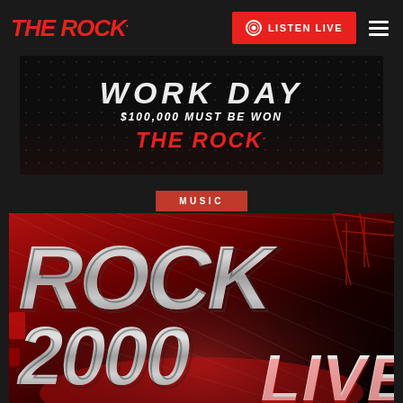THE ROCK.
[Figure (screenshot): Navigation bar with THE ROCK. logo in red italic, red LISTEN LIVE button with vinyl icon, and hamburger menu on dark background]
[Figure (screenshot): Promotional banner on dark/black background with star pattern: 'WORK DAY' in large white italic bold text, '$100,000 MUST BE WON' in white, and 'THE ROCK.' in red italic bold]
MUSIC
[Figure (illustration): Rock 2000 Live promotional image with large metallic diamond-plate styled text reading ROCK 2000 LIVE on a dark red industrial background with crane/construction elements]